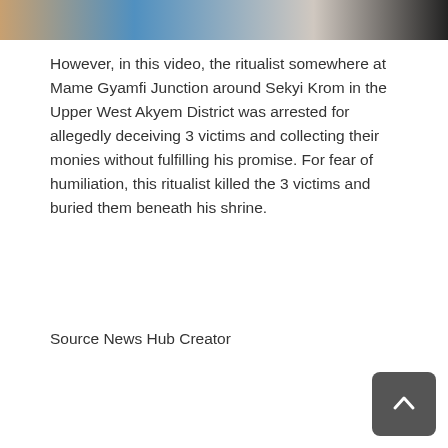[Figure (photo): Top portion of a news article photo showing people, partially cropped at the top of the page.]
However, in this video, the ritualist somewhere at Mame Gyamfi Junction around Sekyi Krom in the Upper West Akyem District was arrested for allegedly deceiving 3 victims and collecting their monies without fulfilling his promise. For fear of humiliation, this ritualist killed the 3 victims and buried them beneath his shrine.
Source News Hub Creator